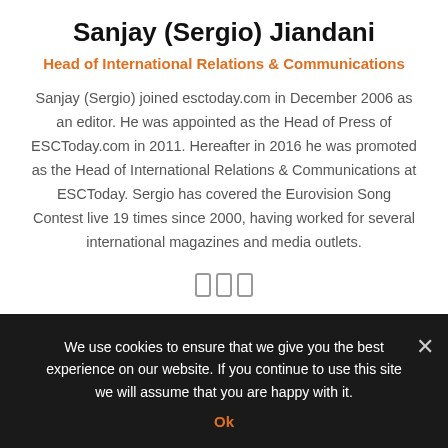Sanjay (Sergio) Jiandani
Head of International Relations & Communications
Sanjay (Sergio) joined esctoday.com in December 2006 as an editor. He was appointed as the Head of Press of ESCToday.com in 2011. Hereafter in 2016 he was promoted as the Head of International Relations & Communications at ESCToday. Sergio has covered the Eurovision Song Contest live 19 times since 2000, having worked for several international magazines and media outlets.
[Figure (other): Three social media icon outlines (phone/social icons)]
We use cookies to ensure that we give you the best experience on our website. If you continue to use this site we will assume that you are happy with it.
Ok